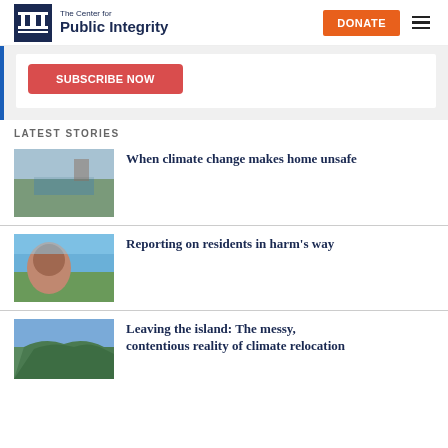The Center for Public Integrity | DONATE
[Figure (screenshot): Red button partially visible in a white card with blue left border, on gray background]
LATEST STORIES
[Figure (photo): Canal or waterway with cloudy sky]
When climate change makes home unsafe
[Figure (photo): Woman with red hair and glasses, outdoors near water and trees]
Reporting on residents in harm's way
[Figure (photo): Aerial view of island or coastal area]
Leaving the island: The messy, contentious reality of climate relocation